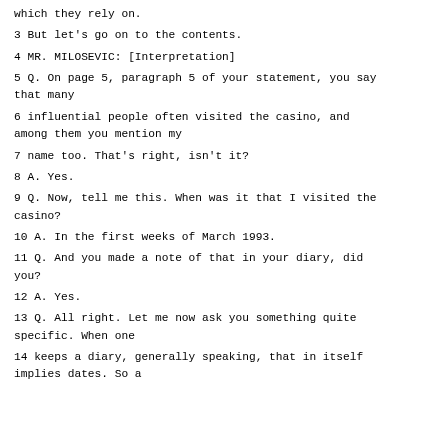which they rely on.
3 But let's go on to the contents.
4 MR. MILOSEVIC: [Interpretation]
5 Q. On page 5, paragraph 5 of your statement, you say that many
6 influential people often visited the casino, and among them you mention my
7 name too. That's right, isn't it?
8 A. Yes.
9 Q. Now, tell me this. When was it that I visited the casino?
10 A. In the first weeks of March 1993.
11 Q. And you made a note of that in your diary, did you?
12 A. Yes.
13 Q. All right. Let me now ask you something quite specific. When one
14 keeps a diary, generally speaking, that in itself implies dates. So a